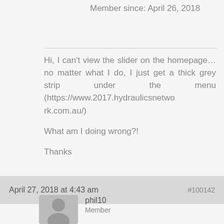Member since: April 26, 2018
Hi, I can't view the slider on the homepage… no matter what I do, I just get a thick grey strip under the menu (https://www.2017.hydraulicsnetwork.com.au/)

What am I doing wrong?!

Thanks
April 27, 2018 at 4:43 am   #100142
phil10
Member